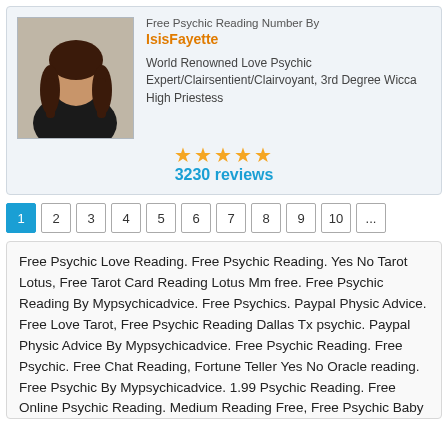[Figure (photo): Profile photo of IsisFayette, a woman with long brown hair wearing a black top, seated indoors]
Free Psychic Reading Number By IsisFayette
World Renowned Love Psychic Expert/Clairsentient/Clairvoyant, 3rd Degree Wicca High Priestess
3230 reviews
1
2
3
4
5
6
7
8
9
10
...
Free Psychic Love Reading. Free Psychic Reading. Yes No Tarot Lotus, Free Tarot Card Reading Lotus Mm free. Free Psychic Reading By Mypsychicadvice. Free Psychics. Paypal Physic Advice. Free Love Tarot, Free Psychic Reading Dallas Tx psychic. Paypal Physic Advice By Mypsychicadvice. Free Psychic Reading. Free Psychic. Free Chat Reading, Fortune Teller Yes No Oracle reading. Free Psychic By Mypsychicadvice. 1.99 Psychic Reading. Free Online Psychic Reading. Medium Reading Free, Free Psychic Baby Gender Prediction online. Free Online Psychic Reading By Mypsychicadvice. Free Psychic